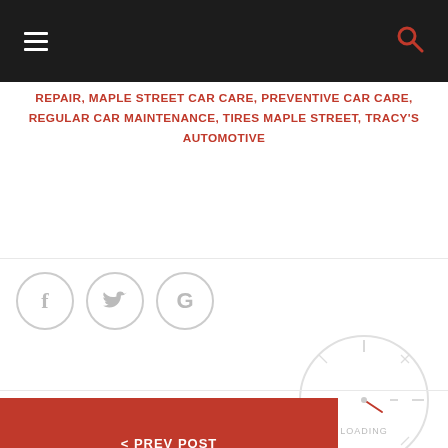Navigation bar with hamburger menu and search icon
REPAIR, MAPLE STREET CAR CARE, PREVENTIVE CAR CARE, REGULAR CAR MAINTENANCE, TIRES MAPLE STREET, TRACY'S AUTOMOTIVE
[Figure (illustration): Three social share buttons (Facebook, Twitter, Google) as circular outline icons]
[Figure (illustration): Circular loading clock/speedometer illustration with red needle and LOADING text]
< PREV POST
NEXT POST >